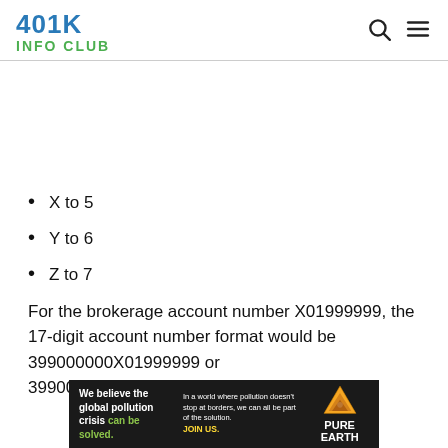401K INFO CLUB
X to 5
Y to 6
Z to 7
For the brokerage account number X01999999, the 17-digit account number format would be 399000000X01999999 or ...
[Figure (other): Advertisement banner for Pure Earth: 'We believe the global pollution crisis can be solved.' with Pure Earth logo]